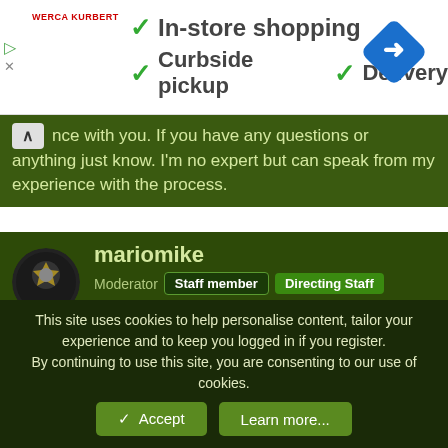[Figure (screenshot): Advertisement banner: Werca Kurbert logo with green checkmarks for In-store shopping, Curbside pickup, Delivery, and a blue navigation diamond icon]
nce with you. If you have any questions or anything just know. I'm no expert but can speak from my experience with the process.
mariomike
Moderator  Staff member  Directing Staff  Subscriber  Mentor
10 Apr 2015  #11
jaysfan17 said:
I have been doing some research about Lasik eye surgery and I should probably do more research.
This site uses cookies to help personalise content, tailor your experience and to keep you logged in if you register.
By continuing to use this site, you are consenting to our use of cookies.